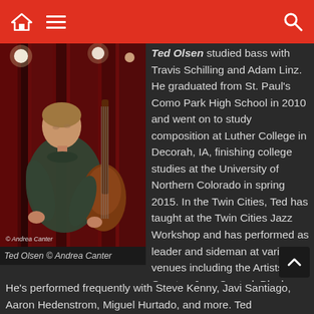[Figure (photo): Ted Olsen playing double bass in front of a red curtain backdrop with stage lighting]
Ted Olsen © Andrea Canter
Ted Olsen studied bass with Travis Schilling and Adam Linz. He graduated from St. Paul's Como Park High School in 2010 and went on to study composition at Luther College in Decorah, IA, finishing college studies at the University of Northern Colorado in spring 2015. In the Twin Cities, Ted has taught at the Twin Cities Jazz Workshop and has performed as leader and sideman at various venues including the Artists Quarter, Jazz Central, Black Dog, Icehouse, Vieux Carré and Twin Cities Jazz Festival. He's performed frequently with Steve Kenny, Javi Santiago, Aaron Hedenstrom, Miguel Hurtado, and more. Ted